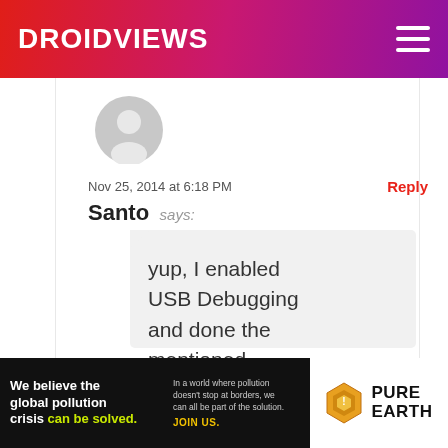DroidViews
[Figure (illustration): Generic gray user avatar icon, circular with person silhouette]
Nov 25, 2014 at 6:18 PM
Reply
Santo says:
yup, I enabled USB Debugging and done the mentioned
[Figure (illustration): Pure Earth advertisement banner: 'We believe the global pollution crisis can be solved. In a world where pollution doesn't stop at borders, we can all be part of the solution. JOIN US.' with Pure Earth diamond logo]